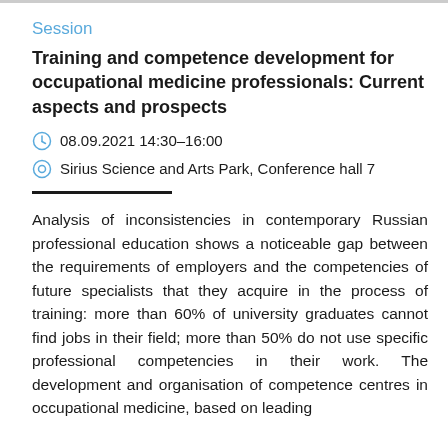Session
Training and competence development for occupational medicine professionals: Current aspects and prospects
08.09.2021 14:30–16:00
Sirius Science and Arts Park, Conference hall 7
Analysis of inconsistencies in contemporary Russian professional education shows a noticeable gap between the requirements of employers and the competencies of future specialists that they acquire in the process of training: more than 60% of university graduates cannot find jobs in their field; more than 50% do not use specific professional competencies in their work. The development and organisation of competence centres in occupational medicine, based on leading